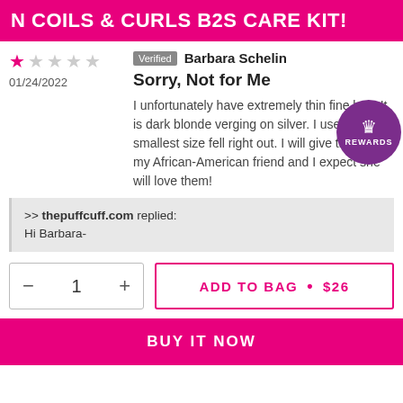N COILS & CURLS B2S CARE KIT!
★☆☆☆☆
01/24/2022
Verified  Barbara Schelin
Sorry, Not for Me
I unfortunately have extremely thin fine hair. It is dark blonde verging on silver. I used the smallest size fell right out. I will give them to my African-American friend and I expect she will love them!
>> thepuffcuff.com replied:
Hi Barbara-
− 1 +
ADD TO BAG • $26
BUY IT NOW